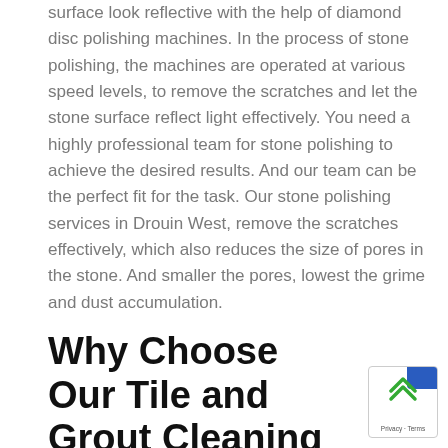surface look reflective with the help of diamond disc polishing machines. In the process of stone polishing, the machines are operated at various speed levels, to remove the scratches and let the stone surface reflect light effectively. You need a highly professional team for stone polishing to achieve the desired results. And our team can be the perfect fit for the task. Our stone polishing services in Drouin West, remove the scratches effectively, which also reduces the size of pores in the stone. And smaller the pores, lowest the grime and dust accumulation.
Why Choose Our Tile and Grout Cleaning Drouin West Services?